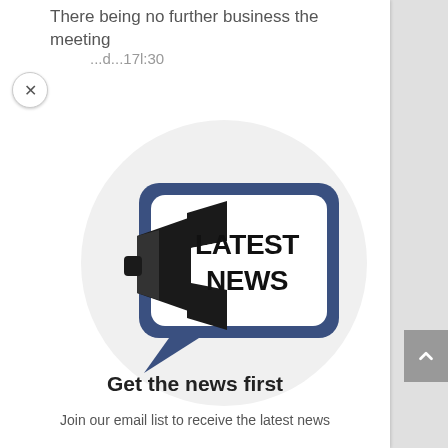There being no further business the meeting
...d...17l:30
[Figure (illustration): A 'Latest News' icon: a megaphone/bullhorn pointing right into a speech bubble shape with the words LATEST NEWS in bold black text, rendered in dark navy/blue outline style on a white circular background]
Get the news first
Join our email list to receive the latest news